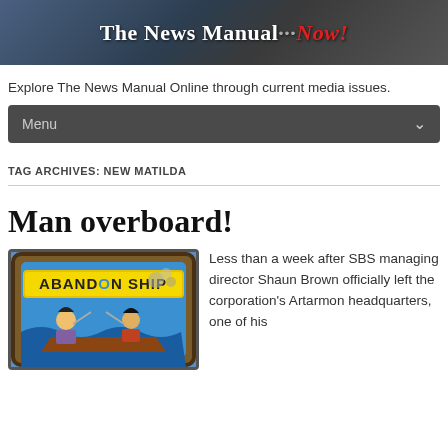[Figure (illustration): The News Manual ...Now! website banner with dark gradient background and bold white/red title text]
Explore The News Manual Online through current media issues.
Menu
TAG ARCHIVES: NEW MATILDA
Man overboard!
[Figure (illustration): Comic-style cartoon image with text 'ABANDON SHIP' in yellow letters on a porthole frame, showing cartoon pirate/nautical characters]
Less than a week after SBS managing director Shaun Brown officially left the corporation's Artarmon headquarters, one of his